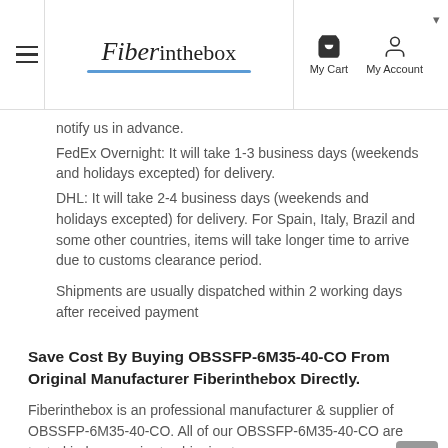Fiberinthebox — My Cart | My Account
notify us in advance.
FedEx Overnight: It will take 1-3 business days (weekends and holidays excepted) for delivery.
DHL: It will take 2-4 business days (weekends and holidays excepted) for delivery. For Spain, Italy, Brazil and some other countries, items will take longer time to arrive due to customs clearance period.
Shipments are usually dispatched within 2 working days after received payment
Save Cost By Buying OBSSFP-6M35-40-CO From Original Manufacturer Fiberinthebox Directly.
Fiberinthebox is an professional manufacturer & supplier of OBSSFP-6M35-40-CO. All of our OBSSFP-6M35-40-CO are tested in-house prior to shipping to